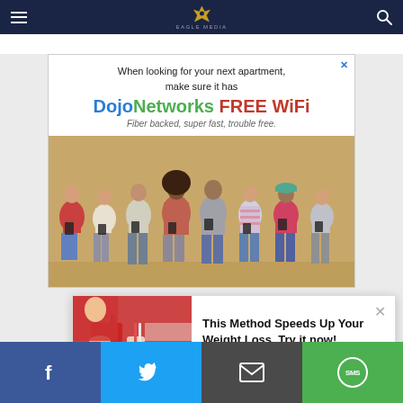Navigation bar with hamburger menu, site logo, and search icon
[Figure (screenshot): DojoNetworks FREE WiFi advertisement banner showing group of young people on phones. Text: 'When looking for your next apartment, make sure it has DojoNetworks FREE WiFi - Fiber backed, super fast, trouble free.']
[Figure (screenshot): Popup ad: 'This Method Speeds Up Your Weight Loss. Try it now!' Search Ads | Sponsored]
Social share bar: Facebook, Twitter, Email, SMS